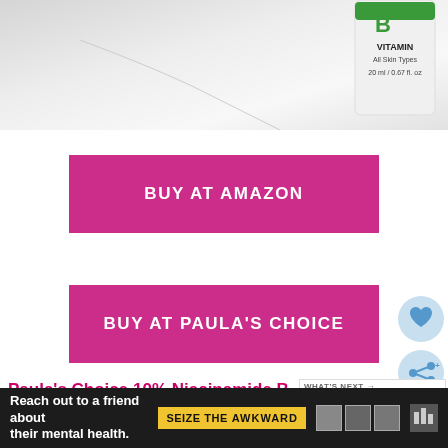[Figure (photo): Partial view of a skincare product bottle (Paula's Choice vitamin B3 serum, 20ml) on a white marble surface. Top portion of bottle visible showing green logo and label text.]
BUY AT AMAZON
BUY AT PAULA'S CHOICE
[Figure (illustration): Blue circular heart/favorite button icon]
[Figure (illustration): Blue circular share button icon]
Paula's Choice 10% Niacinamide B
[Figure (screenshot): What's Next promotional sidebar showing text 'WHAT'S NEXT →' and 'Can You Use Niacinamide...' with a product image thumbnail]
contains 10% niacinamide (vitamin B3) and replenishing actives to brighten, protect, calm, and
[Figure (infographic): Ad bar: 'Reach out to a friend about their mental health.' with SEIZE THE AWKWARD badge and icons]